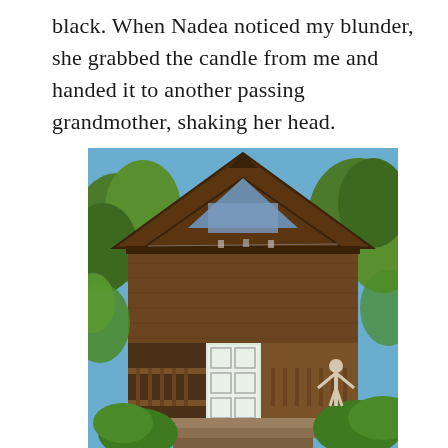black. When Nadea noticed my blunder, she grabbed the candle from me and handed it to another passing grandmother, shaking her head.
[Figure (photo): A rustic wooden cabin or chalet with a steep triangular roof, surrounded by lush green trees and vegetation. The building has a covered porch with decorative wooden railings, a white door, and wooden steps leading up to the entrance. A white statue with arms outstretched stands to the right of the steps. The photo is taken on a sunny day with blue sky visible above the roofline.]